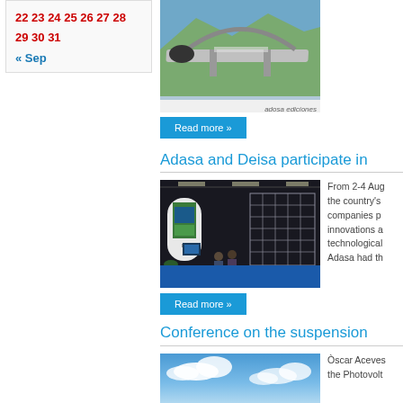22 23 24 25 26 27 28 29 30 31
« Sep
[Figure (photo): Bridge over mountain valley with green hills, book cover style with 'adosa ediciones' text at bottom]
Read more »
Adasa and Deisa participate in
[Figure (photo): Exhibition booth at trade show with displays, screens and visitors seated on blue floor]
From 2-4 Aug the country's companies p innovations a technological Adasa had th
Read more »
Conference on the suspension
[Figure (photo): Blue sky with clouds, partial view]
Òscar Aceves the Photovolt